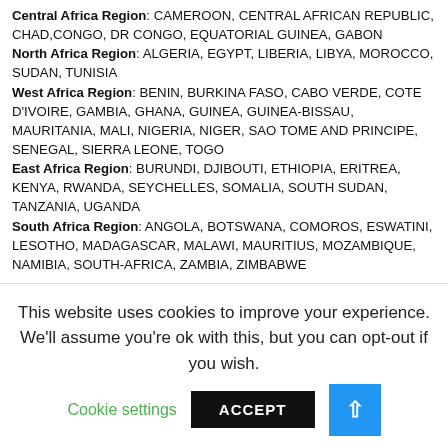Central Africa Region: CAMEROON, CENTRAL AFRICAN REPUBLIC, CHAD, CONGO, DR CONGO, EQUATORIAL GUINEA, GABON
North Africa Region: ALGERIA, EGYPT, LIBERIA, LIBYA, MOROCCO, SUDAN, TUNISIA
West Africa Region: BENIN, BURKINA FASO, CABO VERDE, COTE D'IVOIRE, GAMBIA, GHANA, GUINEA, GUINEA-BISSAU, MAURITANIA, MALI, NIGERIA, NIGER, SAO TOME AND PRINCIPE, SENEGAL, SIERRA LEONE, TOGO
East Africa Region: BURUNDI, DJIBOUTI, ETHIOPIA, ERITREA, KENYA, RWANDA, SEYCHELLES, SOMALIA, SOUTH SUDAN, TANZANIA, UGANDA
South Africa Region: ANGOLA, BOTSWANA, COMOROS, ESWATINI, LESOTHO, MADAGASCAR, MALAWI, MAURITIUS, MOZAMBIQUE, NAMIBIA, SOUTH-AFRICA, ZAMBIA, ZIMBABWE
ASEAN
ASEAN: BRUNEI, CAMBODIA, INDONESIA, LAOS, MALAYSIA, MYANMAR, PHILIPPINES, SINGAPORE, THAILAND, VIETNAM
ASEAN+6: AUSTRALIA, CHINA, INDIA, JAPAN, NEW ZEALAND, SOUTH KOREA
Other ASIAN: MONGOLIA, NORTH KOREA
This website uses cookies to improve your experience. We'll assume you're ok with this, but you can opt-out if you wish.
Cookie settings | ACCEPT